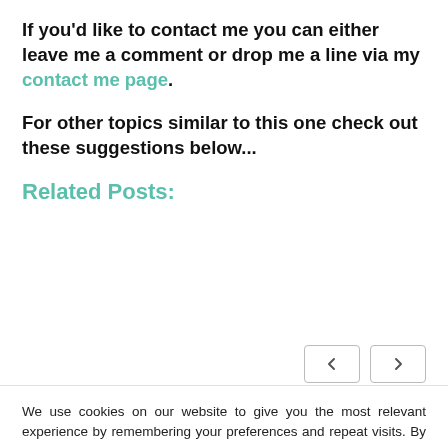If you'd like to contact me you can either leave me a comment or drop me a line via my contact me page.
For other topics similar to this one check out these suggestions below...
Related Posts:
We use cookies on our website to give you the most relevant experience by remembering your preferences and repeat visits. By clicking “Accept”, you consent to the use of ALL the cookies.
Cookie settings  ACCEPT